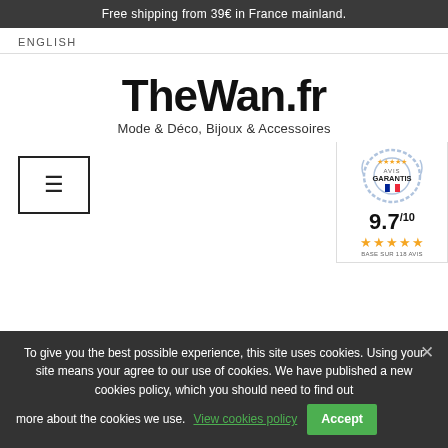Free shipping from 39€ in France mainland.
ENGLISH
[Figure (logo): TheWan.fr logo with tagline 'Mode & Déco, Bijoux & Accessoires']
[Figure (other): Navigation bar with hamburger menu button, search icon, and Avis Garantis badge showing 9.7/10 rating with 5 stars]
To give you the best possible experience, this site uses cookies. Using your site means your agree to our use of cookies. We have published a new cookies policy, which you should need to find out more about the cookies we use. View cookies policy  Accept